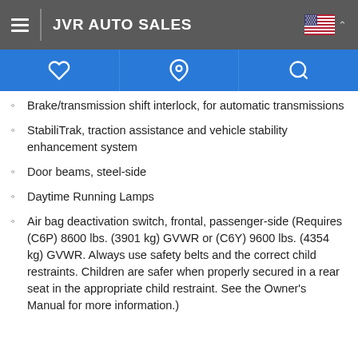JVR AUTO SALES
Brake/transmission shift interlock, for automatic transmissions
StabiliTrak, traction assistance and vehicle stability enhancement system
Door beams, steel-side
Daytime Running Lamps
Air bag deactivation switch, frontal, passenger-side (Requires (C6P) 8600 lbs. (3901 kg) GVWR or (C6Y) 9600 lbs. (4354 kg) GVWR. Always use safety belts and the correct child restraints. Children are safer when properly secured in a rear seat in the appropriate child restraint. See the Owner's Manual for more information.)